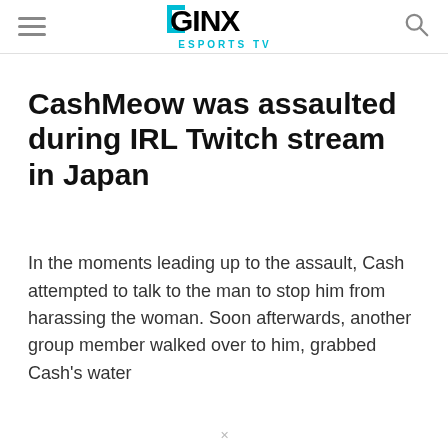GINX ESPORTS TV
CashMeow was assaulted during IRL Twitch stream in Japan
In the moments leading up to the assault, Cash attempted to talk to the man to stop him from harassing the woman. Soon afterwards, another group member walked over to him, grabbed Cash’s water